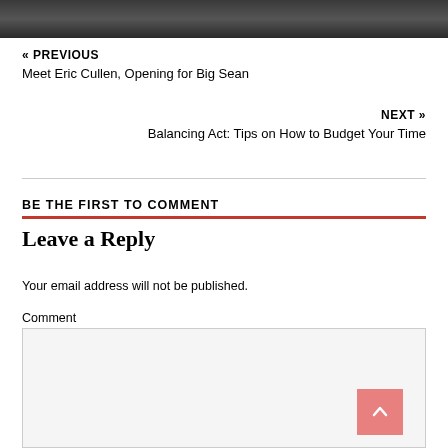[Figure (photo): Dark grayscale image strip at top of page]
« PREVIOUS
Meet Eric Cullen, Opening for Big Sean
NEXT »
Balancing Act: Tips on How to Budget Your Time
BE THE FIRST TO COMMENT
Leave a Reply
Your email address will not be published.
Comment